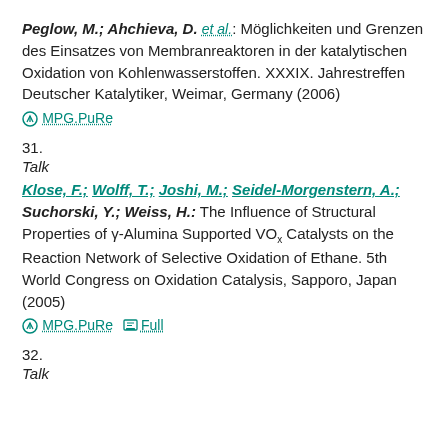Peglow, M.; Ahchieva, D. et al.: Möglichkeiten und Grenzen des Einsatzes von Membranreaktoren in der katalytischen Oxidation von Kohlenwasserstoffen. XXXIX. Jahrestreffen Deutscher Katalytiker, Weimar, Germany (2006)
MPG.PuRe
31.
Talk
Klose, F.; Wolff, T.; Joshi, M.; Seidel-Morgenstern, A.; Suchorski, Y.; Weiss, H.: The Influence of Structural Properties of γ-Alumina Supported VOx Catalysts on the Reaction Network of Selective Oxidation of Ethane. 5th World Congress on Oxidation Catalysis, Sapporo, Japan (2005)
MPG.PuRe   Full
32.
Talk